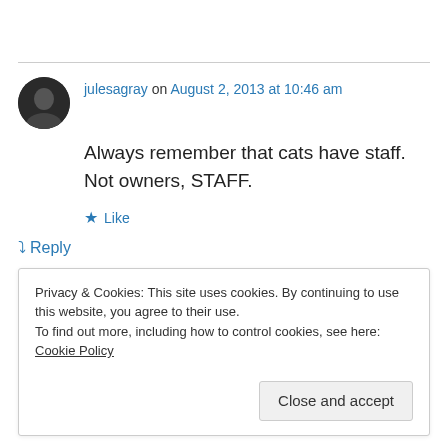julesagray on August 2, 2013 at 10:46 am
Always remember that cats have staff. Not owners, STAFF.
Like
Reply
Privacy & Cookies: This site uses cookies. By continuing to use this website, you agree to their use.
To find out more, including how to control cookies, see here: Cookie Policy
Close and accept